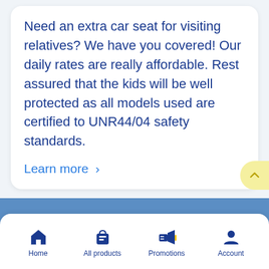Need an extra car seat for visiting relatives? We have you covered! Our daily rates are really affordable. Rest assured that the kids will be well protected as all models used are certified to UNR44/04 safety standards.
Learn more >
Quick Links
Contact us
Home | All products | Promotions | Account